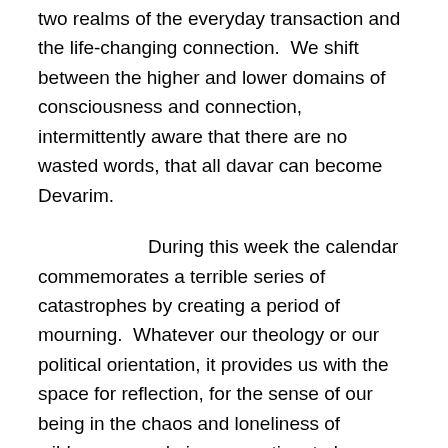two realms of the everyday transaction and the life-changing connection.  We shift between the higher and lower domains of consciousness and connection, intermittently aware that there are no wasted words, that all davar can become Devarim.
During this week the calendar commemorates a terrible series of catastrophes by creating a period of mourning.  Whatever our theology or our political orientation, it provides us with the space for reflection, for the sense of our being in the chaos and loneliness of wilderness, and gives  us a time to become conscious of ourselves, our lives, our pain.  It is an opportunity for us to begin the process of radically transforming ourselves as we begin the run-up to Rosh Hashanah.  It gives us the opportunity to make connections and to see words differently, so as to experience the holiness that is all